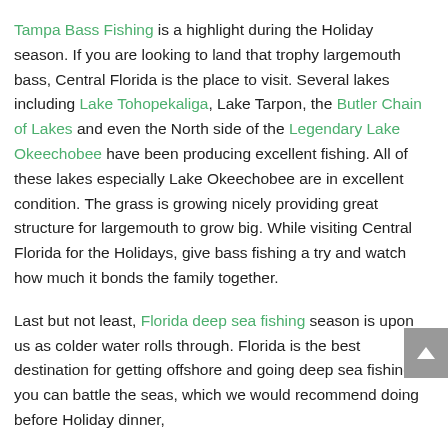Tampa Bass Fishing is a highlight during the Holiday season. If you are looking to land that trophy largemouth bass, Central Florida is the place to visit. Several lakes including Lake Tohopekaliga, Lake Tarpon, the Butler Chain of Lakes and even the North side of the Legendary Lake Okeechobee have been producing excellent fishing. All of these lakes especially Lake Okeechobee are in excellent condition. The grass is growing nicely providing great structure for largemouth to grow big. While visiting Central Florida for the Holidays, give bass fishing a try and watch how much it bonds the family together.
Last but not least, Florida deep sea fishing season is upon us as colder water rolls through. Florida is the best destination for getting offshore and going deep sea fishing. If you can battle the seas, which we would recommend doing before Holiday dinner,